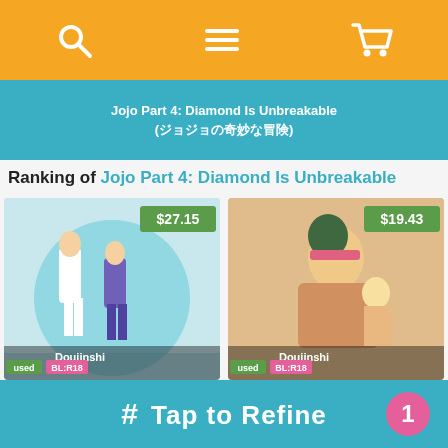Navigation bar with search, menu, and cart icons
Jojo Part 4: Diamond Is Unbreakable (ジョジョの奇妙な冒険)
Ranking of Jojo Part 4: Diamond Is Unbreakable
[Figure (illustration): Doujinshi manga cover - two male anime figures, used, BL:R18, price $27.15]
[Figure (illustration): Doujinshi manga cover - male anime figures embracing, used, BL:R18, price $19.43]
[Figure (illustration): Doujinshi manga cover - pink and colorful, price $36.29]
[Figure (illustration): Doujinshi manga cover - partial view, price $28.35]
# Tap to Refine 1